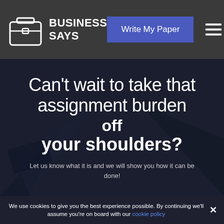BUSINESS SAYS
Can't wait to take that assignment burden off your shoulders?
Let us know what it is and we will show you how it can be done!
We use cookies to give you the best experience possible. By continuing we'll assume you're on board with our cookie policy